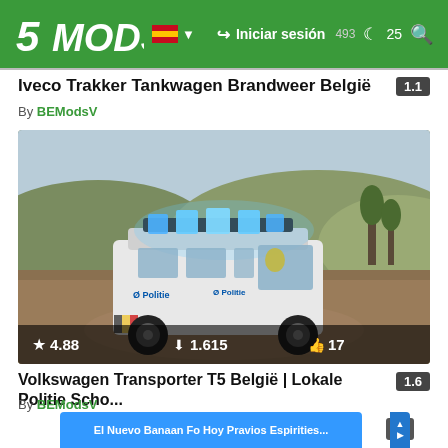5MODS — Iniciar sesión
Iveco Trakker Tankwagen Brandweer België
By BEModsV
[Figure (photo): Screenshot from GTA V mod showing a white Belgian police Volkswagen Transporter T5 van with blue flashing lights on a dirt road in a natural outdoor environment. The van has 'Politie' markings and Belgian police livery.]
★ 4.88   ↓ 1.615   👍 17
Volkswagen Transporter T5 België | Lokale Politie Scho...
By BEModsV
El Nuevo Banaan Fo Hoy Pravios Espirities...